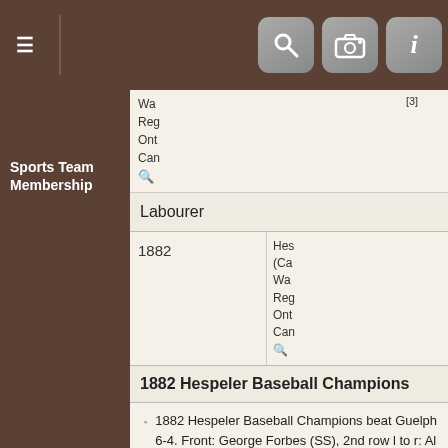Navigation bar with hamburger menu and icons for search, camera, and info
Wa
Reg
Ont
Can
[3]
Labourer
Sports Team Membership
1882
Hes
(Ca
Wa
Reg
Ont
Can
1882 Hespeler Baseball Champions
1882 Hespeler Baseball Champions beat Guelph 6-4. Front: George Forbes (SS), 2nd row l to r: Al Marchment (CF), James Mullen (3rd), Ben Stock (C), John Murdock (RF), Back: John Campbell (P), Andrew Jardine (LF), John Maul (2nd), Charles Hespeler (1st).
188